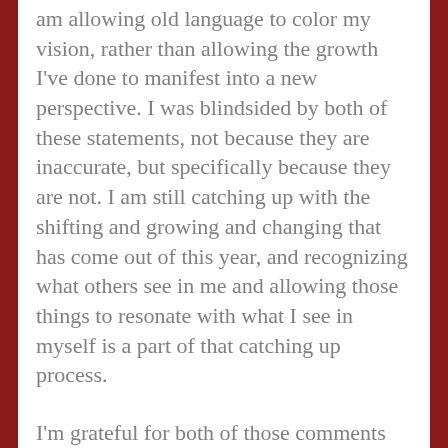am allowing old language to color my vision, rather than allowing the growth I've done to manifest into a new perspective. I was blindsided by both of these statements, not because they are inaccurate, but specifically because they are not. I am still catching up with the shifting and growing and changing that has come out of this year, and recognizing what others see in me and allowing those things to resonate with what I see in myself is a part of that catching up process.
I'm grateful for both of those comments because it forces me to look more objectively at the ways in which I move through the world. The space I take up, both in emotion and in physical space. It points out the places where I am still clinging to old ideas of who I am and how I function in the world, and gives me the ability to dig through those. It's jarring, but necessary; sometimes, a little shaking up is the only way to get me out of my own head (and often, out of my